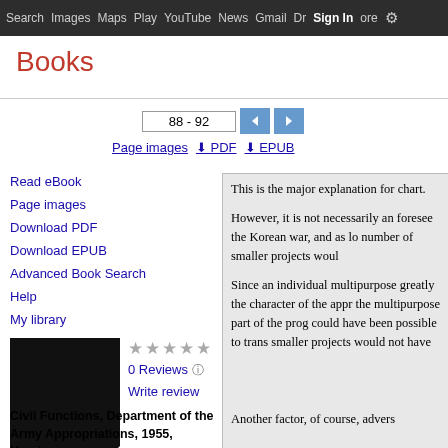Search  Images  Maps  Play  YouTube  News  Gmail  Drive  More  Sign In
Books
88 - 92
Page images
PDF
EPUB
Read eBook
Page images
Download PDF
Download EPUB
Advanced Book Search
Help
My library
0 Reviews
Write review
Civil Functions, Department of the Army Appropriations, 1955, Hearings
This is the major explanation for chart.

However, it is not necessarily an foresee the Korean war, and as lo number of smaller projects woul

Since an individual multipurpose greatly the character of the appr the multipurpose part of the prog could have been possible to trans smaller projects would not have
Another factor, of course, advers